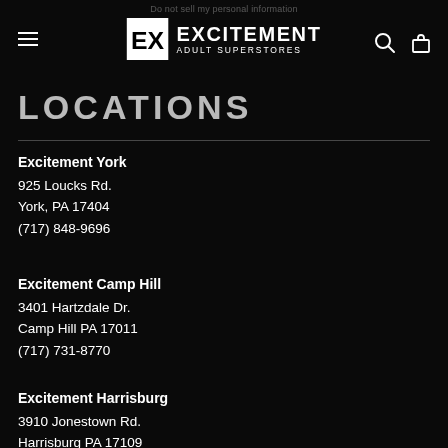Do not sell my personal information
[Figure (logo): Excitement Adult Superstores logo with EX icon and text]
LOCATIONS
Excitement York
925 Loucks Rd.
York, PA 17404
(717) 848-9696
Excitement Camp Hill
3401 Hartzdale Dr.
Camp Hill PA 17011
(717) 731-8770
Excitement Harrisburg
3910 Jonestown Rd.
Harrisburg PA 17109
(717) 540-8000